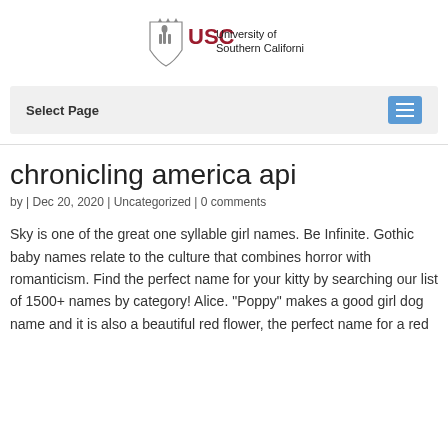[Figure (logo): USC University of Southern California logo with shield icon and text]
Select Page
chronicling america api
by | Dec 20, 2020 | Uncategorized | 0 comments
Sky is one of the great one syllable girl names. Be Infinite. Gothic baby names relate to the culture that combines horror with romanticism. Find the perfect name for your kitty by searching our list of 1500+ names by category! Alice. "Poppy" makes a good girl dog name and it is also a beautiful red flower, the perfect name for a red